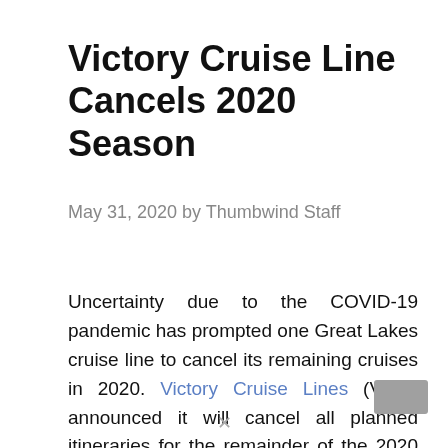Victory Cruise Line Cancels 2020 Season
May 31, 2020 by Thumbwind Staff
Uncertainty due to the COVID-19 pandemic has prompted one Great Lakes cruise line to cancel its remaining cruises in 2020. Victory Cruise Lines (VCL), announced it will cancel all planned itineraries for the remainder of the 2020 season due to